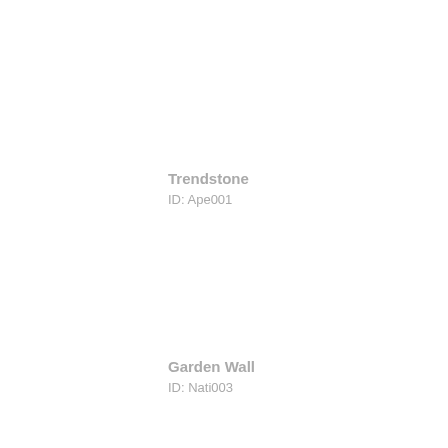Trendstone
ID: Ape001
Garden Wall
ID: Nati003